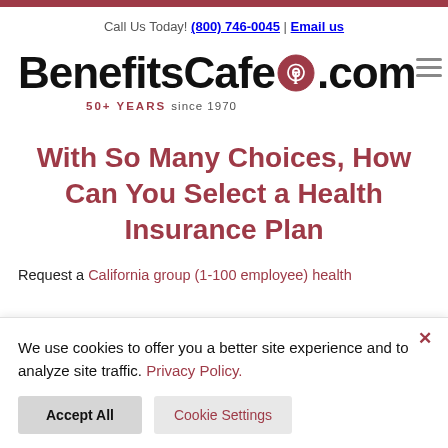Call Us Today! (800) 746-0045 | Email us
[Figure (logo): BenefitsCafe.com logo with circular icon and tagline '50+ YEARS since 1970']
With So Many Choices, How Can You Select a Health Insurance Plan
Request a California group (1-100 employee) health
We use cookies to offer you a better site experience and to analyze site traffic. Privacy Policy. Accept All Cookie Settings